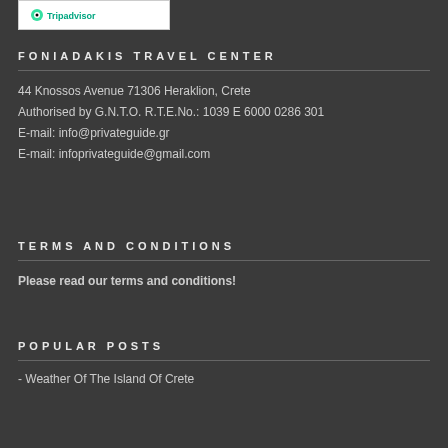[Figure (logo): TripAdvisor logo in white box at top]
FONIADAKIS TRAVEL CENTER
44 Knossos Avenue 71306 Heraklion, Crete
Authorised by G.N.T.O. R.T.E.No.: 1039 E 6000 0286 301
E-mail: info@privateguide.gr
E-mail: infoprivateguide@gmail.com
TERMS AND CONDITIONS
Please read our terms and conditions!
POPULAR POSTS
- Weather Of The Island Of Crete